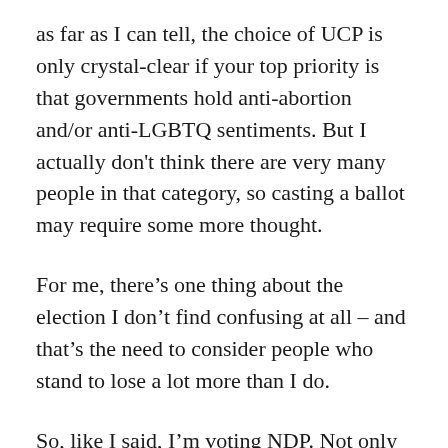as far as I can tell, the choice of UCP is only crystal-clear if your top priority is that governments hold anti-abortion and/or anti-LGBTQ sentiments. But I actually don't think there are very many people in that category, so casting a ballot may require some more thought.
For me, there's one thing about the election I don't find confusing at all – and that's the need to consider people who stand to lose a lot more than I do.
So, like I said, I'm voting NDP. Not only do I think Rachel Notley has done a great job in a tough situation (tough because of economic factors from outside Alberta, and also tough because of what she inherited from the Conservatives), but I'm also okay with voting